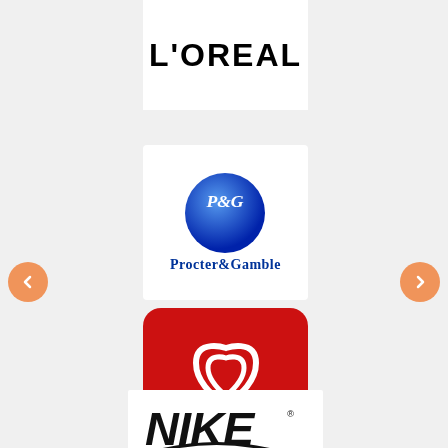[Figure (logo): L'OREAL brand logo in black bold text on white background]
[Figure (logo): Procter & Gamble (P&G) logo: blue circle with P&G text, Procter & Gamble wordmark below]
[Figure (logo): OLA ice cream brand logo: red rounded square with white heart/swirl symbol and OLA text]
[Figure (logo): Nike brand logo: black italic NIKE wordmark with swoosh, partially visible]
[Figure (other): Left navigation arrow button (orange circle with chevron)]
[Figure (other): Right navigation arrow button (orange circle with chevron)]